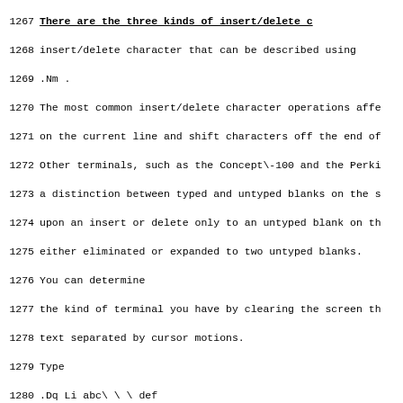Lines 1267-1299 of a manual/source document showing terminal insert/delete character operations, typed and untyped blanks, and terminal type detection instructions.